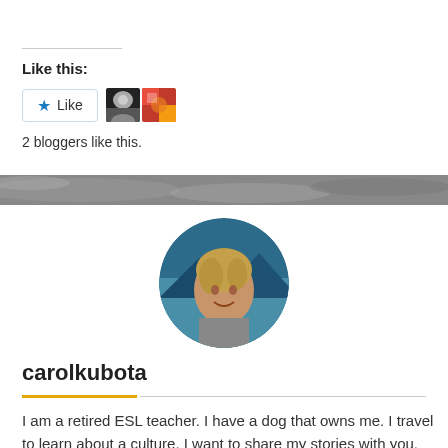Like this:
[Figure (screenshot): Like button with star icon and two blogger avatar thumbnails]
2 bloggers like this.
[Figure (photo): Circular profile photo of carolkubota, a person smiling outdoors with mountainous background]
carolkubota
I am a retired ESL teacher. I have a dog that owns me. I travel to learn about a culture. I want to share my stories with you. Come along with me!